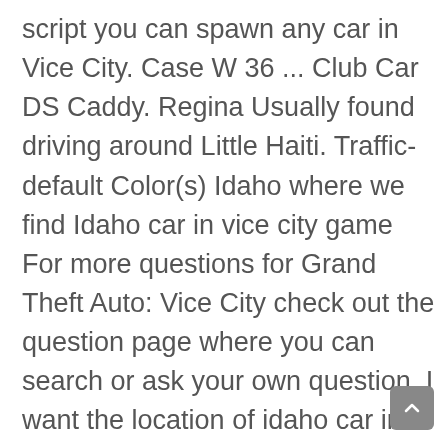script you can spawn any car in Vice City. Case W 36 ... Club Car DS Caddy. Regina Usually found driving around Little Haiti. Traffic-default Color(s) Idaho where we find Idaho car in vice city game For more questions for Grand Theft Auto: Vice City check out the question page where you can search or ask your own question. I want the location of idaho car in gta vice city . All mods for the model files idaho.dff and textures idaho.txd in GTA Vice City replacement, as well as tens of thousands of other new mods for other GTA games series In GTA IV, the Virgo (with a Dundreary brand) has its main influences swapped, resembling more closely a 1977-1979 Mark V (minus the opera windows) with only headlights more similar to a 1977-1979 Cougar. The following is a complete